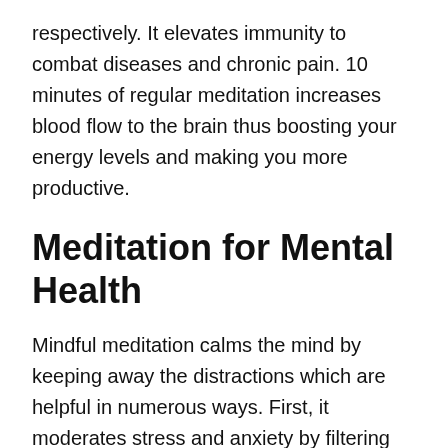respectively. It elevates immunity to combat diseases and chronic pain. 10 minutes of regular meditation increases blood flow to the brain thus boosting your energy levels and making you more productive.
Meditation for Mental Health
Mindful meditation calms the mind by keeping away the distractions which are helpful in numerous ways. First, it moderates stress and anxiety by filtering and eliminating negative thoughts. This helps in lowering the risk of anxiety-related problems including depression and PTSD by regulating the release of serotonin. Moreover, it also helps to synchronize the sleep cycle by stimulating the release of melatonin (sleep hormone).
Mindfulness meditation is typically involved in the restructuring